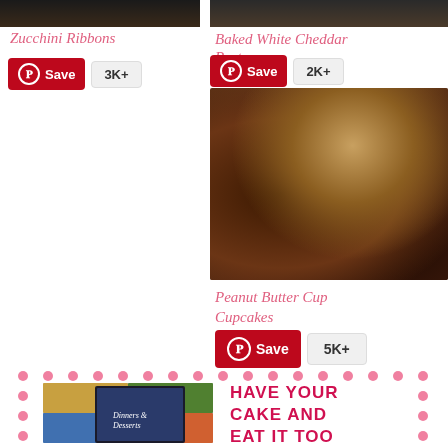[Figure (photo): Top partial image of food on left side]
[Figure (photo): Top partial image of baked food on right side]
Zucchini Ribbons
Baked White Cheddar Pasta
Save 3K+
Save 2K+
[Figure (photo): Peanut Butter Cup Cupcakes - chocolate cupcakes with peanut butter frosting and chocolate chips scattered around]
Peanut Butter Cup Cupcakes
Save 5K+
[Figure (illustration): Promotional banner with pink dot border, cookbook/tablet image on left, and text HAVE YOUR CAKE AND EAT IT TOO on right]